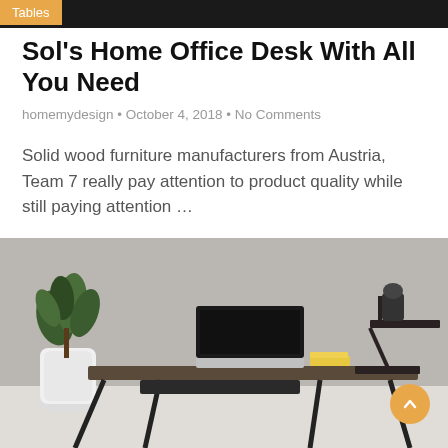Tables
Sol's Home Office Desk With All You Need
homemydesign • October 4, 2018 • No Comments
Solid wood furniture manufacturers from Austria, Team 7 really pay attention to product quality while still paying attention …
[Figure (photo): A modern home office desk with dark wood surface and black metal legs, a laptop, books, and a small shelf unit, next to a potted plant on a grey background.]